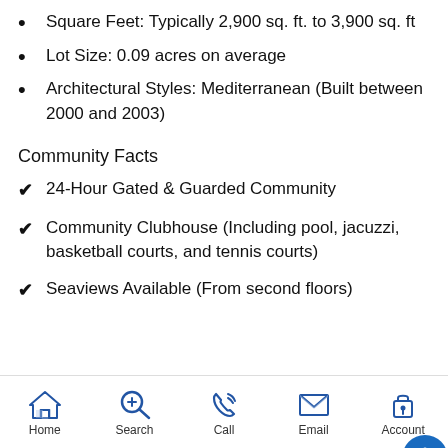Square Feet: Typically 2,900 sq. ft. to 3,900 sq. ft
Lot Size: 0.09 acres on average
Architectural Styles: Mediterranean (Built between 2000 and 2003)
Community Facts
✔ 24-Hour Gated & Guarded Community
✔ Community Clubhouse (Including pool, jacuzzi, basketball courts, and tennis courts)
✔ Seaviews Available (From second floors)
Home  Search  Call  Email  Account